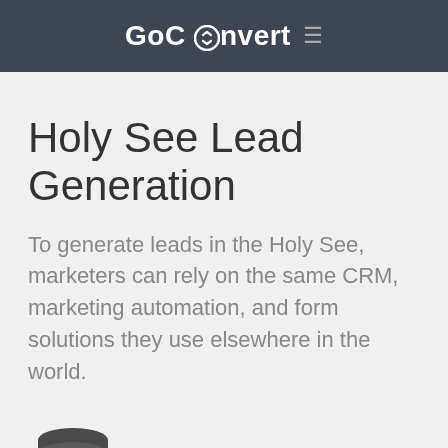GoConvert ≡
Holy See Lead Generation
To generate leads in the Holy See, marketers can rely on the same CRM, marketing automation, and form solutions they use elsewhere in the world.
Web Forms
Use web forms to write leads to your CRM, marketing